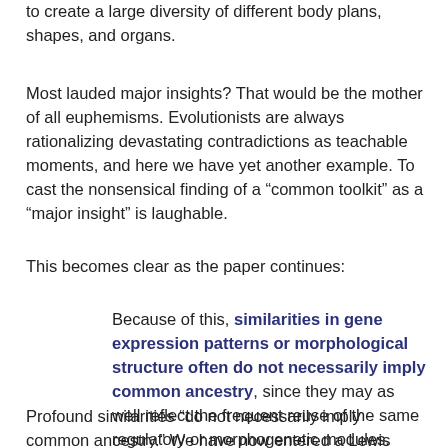to create a large diversity of different body plans, shapes, and organs.
Most lauded major insights? That would be the mother of all euphemisms. Evolutionists are always rationalizing devastating contradictions as teachable moments, and here we have yet another example. To cast the nonsensical finding of a “common toolkit” as a “major insight” is laughable.
This becomes clear as the paper continues:
Because of this, similarities in gene expression patterns or morphological structure often do not necessarily imply common ancestry, since they may as well reflect the frequent reuse of the same regulatory or morphogenetic modules.
Profound similarities “do not necessarily imply common ancestry.” We have now entered a Lewis Carroll world, as